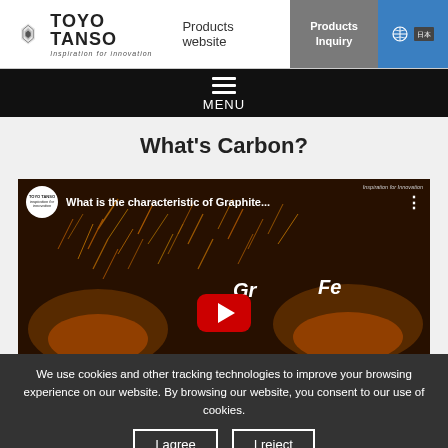TOYO TANSO — Inspiration for innovation — Products website — Products Inquiry
MENU
What's Carbon?
[Figure (screenshot): YouTube video thumbnail showing 'What is the characteristic of Graphite...' with Toyo Tanso logo circle, sparks/fire background with 'Gr' and 'Fe' chemical labels, and a red YouTube play button.]
We use cookies and other tracking technologies to improve your browsing experience on our website. By browsing our website, you consent to our use of cookies.
I agree
I reject